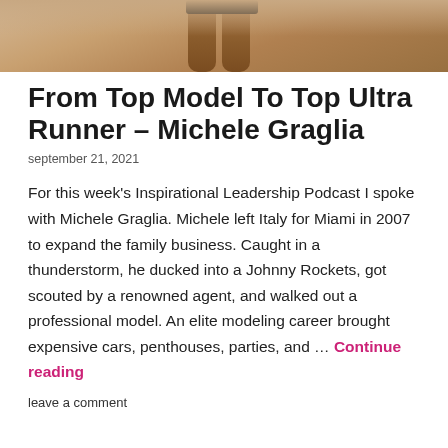[Figure (photo): Photo of lower body/legs of a person standing in a desert sand environment, wearing dark swimwear/shorts, viewed from above waist down.]
From Top Model To Top Ultra Runner – Michele Graglia
september 21, 2021
For this week's Inspirational Leadership Podcast I spoke with Michele Graglia. Michele left Italy for Miami in 2007 to expand the family business. Caught in a thunderstorm, he ducked into a Johnny Rockets, got scouted by a renowned agent, and walked out a professional model. An elite modeling career brought expensive cars, penthouses, parties, and … Continue reading
leave a comment